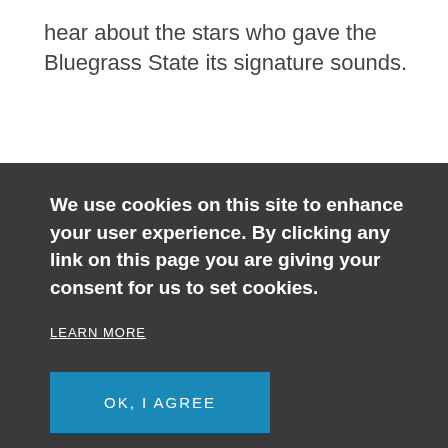hear about the stars who gave the Bluegrass State its signature sounds.
HORSES, HATS AND BOURBON WITH
We use cookies on this site to enhance your user experience. By clicking any link on this page you are giving your consent for us to set cookies.
LEARN MORE
OK, I AGREE